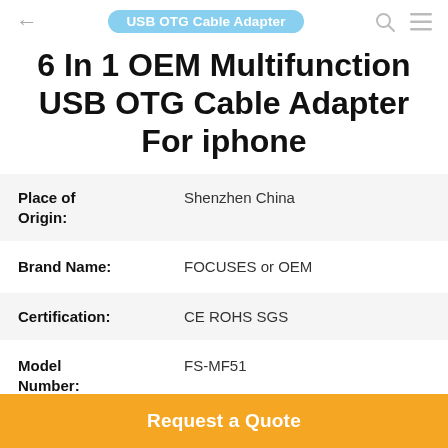← USB OTG Cable Adapter 🔍 ☰
6 In 1 OEM Multifunction USB OTG Cable Adapter For iphone
| Attribute | Value |
| --- | --- |
| Place of Origin: | Shenzhen China |
| Brand Name: | FOCUSES or OEM |
| Certification: | CE ROHS SGS |
| Model Number: | FS-MF51 |
Request a Quote